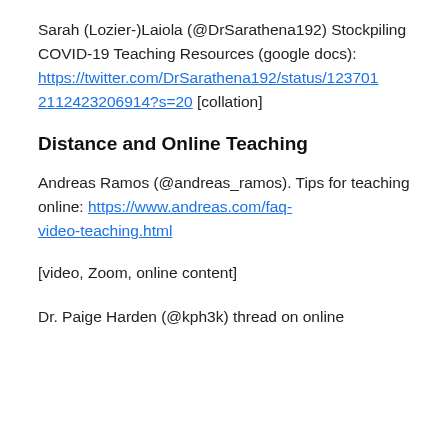Sarah (Lozier-)Laiola (@DrSarathena192) Stockpiling COVID-19 Teaching Resources (google docs): https://twitter.com/DrSarathena192/status/1237012112423206914?s=20 [collation]
Distance and Online Teaching
Andreas Ramos (@andreas_ramos). Tips for teaching online: https://www.andreas.com/faq-video-teaching.html
[video, Zoom, online content]
Dr. Paige Harden (@kph3k) thread on online